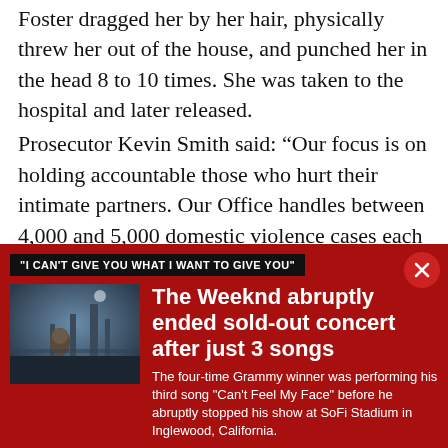Foster dragged her by her hair, physically threw her out of the house, and punched her in the head 8 to 10 times. She was taken to the hospital and later released.
Prosecutor Kevin Smith said: “Our focus is on holding accountable those who hurt their intimate partners. Our Office handles between 4,000 and 5,000 domestic violence cases each year.
We only hope that this case illuminates the tragic
"I CAN'T GIVE YOU WHAT I WANT TO GIVE YOU"
The Weeknd abruptly ended sold-out concert after just 3 songs
The four-time Grammy winner was performing his third song "Can't Feel My Face" before he abruptly stopped his show at SoFi Stadium in Inglewood, California.